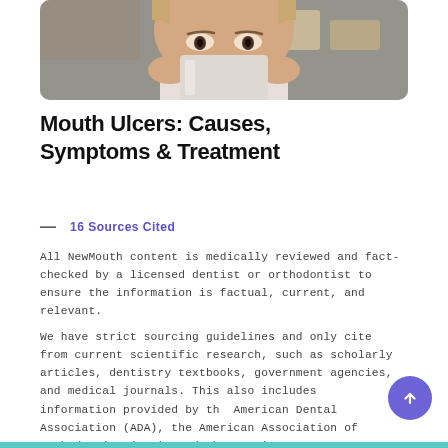[Figure (photo): Close-up photo of a woman holding a white cup up to her face, eyes visible above the cup, blurred background with shelves]
Mouth Ulcers: Causes, Symptoms & Treatment
— 16 Sources Cited
All NewMouth content is medically reviewed and fact-checked by a licensed dentist or orthodontist to ensure the information is factual, current, and relevant.
We have strict sourcing guidelines and only cite from current scientific research, such as scholarly articles, dentistry textbooks, government agencies, and medical journals. This also includes information provided by the American Dental Association (ADA), the American Association of Orthodontics (AAO), and the American